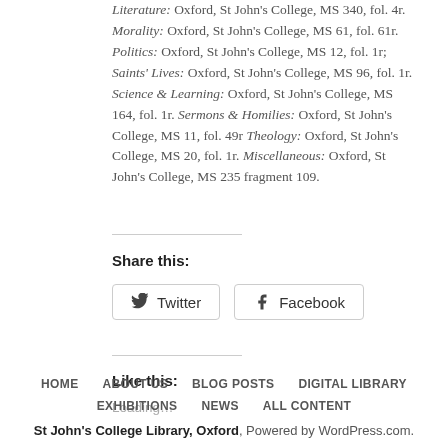Literature: Oxford, St John's College, MS 340, fol. 4r. Morality: Oxford, St John's College, MS 61, fol. 61r. Politics: Oxford, St John's College, MS 12, fol. 1r; Saints' Lives: Oxford, St John's College, MS 96, fol. 1r. Science & Learning: Oxford, St John's College, MS 164, fol. 1r. Sermons & Homilies: Oxford, St John's College, MS 11, fol. 49r Theology: Oxford, St John's College, MS 20, fol. 1r. Miscellaneous: Oxford, St John's College, MS 235 fragment 109.
Share this:
[Figure (other): Twitter and Facebook share buttons]
Like this:
Loading…
HOME   ABOUT US   BLOG POSTS   DIGITAL LIBRARY   EXHIBITIONS   NEWS   ALL CONTENT
St John's College Library, Oxford, Powered by WordPress.com.